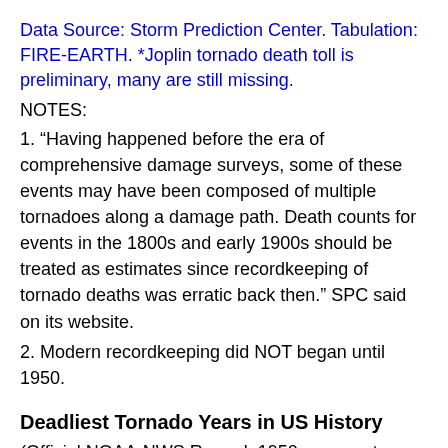Data Source: Storm Prediction Center. Tabulation: FIRE-EARTH. *Joplin tornado death toll is preliminary, many are still missing.
NOTES:
1. “Having happened before the era of comprehensive damage surveys, some of these events may have been composed of multiple tornadoes along a damage path. Death counts for events in the 1800s and early 1900s should be treated as estimates since recordkeeping of tornado deaths was erratic back then.” SPC said on its website.
2. Modern recordkeeping did NOT began until 1950.
Deadliest Tornado Years in US History
(Official NOAA-NWS Record: 1950 – present; Research by Grazulis: 1875-1949)